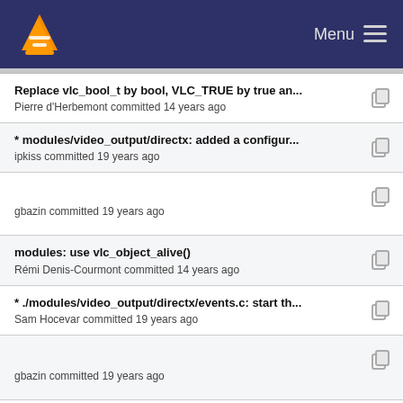VLC Menu
Replace vlc_bool_t by bool, VLC_TRUE by true an...
Pierre d'Herbemont committed 14 years ago
* modules/video_output/directx: added a configur...
ipkiss committed 19 years ago
gbazin committed 19 years ago
modules: use vlc_object_alive()
Rémi Denis-Courmont committed 14 years ago
* ./modules/video_output/directx/events.c: start th...
Sam Hocevar committed 19 years ago
gbazin committed 19 years ago
* ./modules/video_output/directx/events.c: start th...